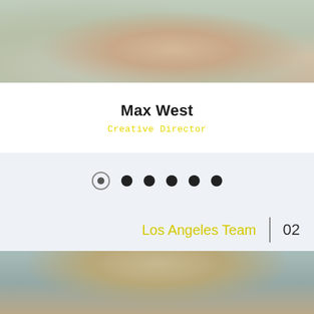[Figure (photo): Partial view of a person in a light gray t-shirt, upper body cropped]
Max West
Creative Director
[Figure (infographic): Carousel navigation dots: one radio/outline dot (selected) followed by five filled solid dots]
Los Angeles Team | 02
[Figure (photo): Top of a person's head with brown hair, partially visible]